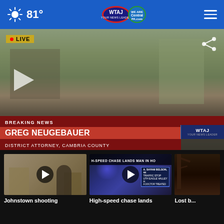81° | WTAJ / CentralPA.com
[Figure (screenshot): WTAJ TV news broadcast screenshot showing Greg Neugebauer, District Attorney of Cambria County, being interviewed on location. LIVE badge in upper left. Lower third shows BREAKING NEWS / GREG NEUGEBAUER / DISTRICT ATTORNEY, CAMBRIA COUNTY with WTAJ logo.]
[Figure (screenshot): Thumbnail video still of Johnstown shooting story with play button overlay]
Johnstown shooting
[Figure (screenshot): Thumbnail video still of High-speed chase lands man in hospital story with play button overlay and lower-third overlay text]
High-speed chase lands
[Figure (photo): Partially visible third thumbnail story - Lost b...]